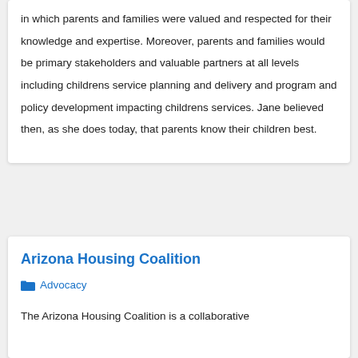in which parents and families were valued and respected for their knowledge and expertise. Moreover, parents and families would be primary stakeholders and valuable partners at all levels including childrens service planning and delivery and program and policy development impacting childrens services. Jane believed then, as she does today, that parents know their children best.
Arizona Housing Coalition
Advocacy
The Arizona Housing Coalition is a collaborative